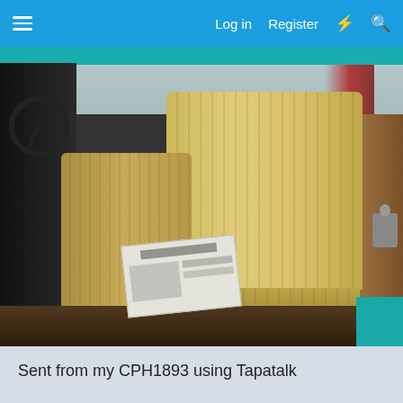Log in  Register
[Figure (photo): Interior of a vintage truck or vehicle showing tan/beige ribbed bench seats, a steering wheel on the left, wood paneling on the right, a seatbelt visible between the seats, a paper document resting on the lower seat, and teal exterior paint visible at top and bottom right. Red curtains are visible in the upper right background window area.]
Sent from my CPH1893 using Tapatalk